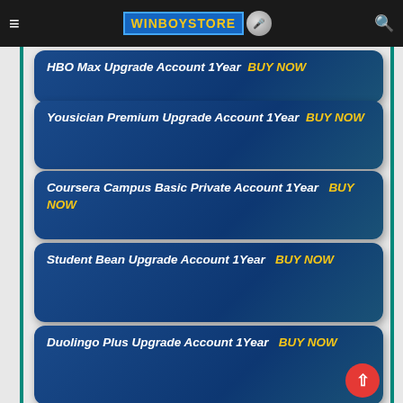WINBOYSTORE
HBO Max Upgrade Account 1Year  BUY NOW
Yousician Premium Upgrade Account 1Year  BUY NOW
Coursera Campus Basic Private Account 1Year  BUY NOW
Student Bean Upgrade Account 1Year  BUY NOW
Duolingo Plus Upgrade Account 1Year  BUY NOW